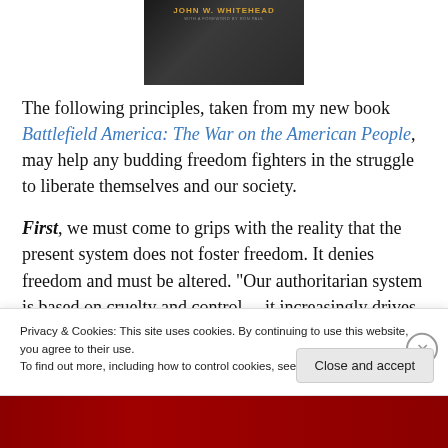[Figure (photo): Book cover image for a book by John W. Whitehead, showing the author name in gold/orange text and subtitle text on a dark background]
The following principles, taken from my new book Battlefield America: The War on the American People, may help any budding freedom fighters in the struggle to liberate themselves and our society.
First, we must come to grips with the reality that the present system does not foster freedom. It denies freedom and must be altered. “Our authoritarian system is based on cruelty and control…it increasingly drives natural love…
Privacy & Cookies: This site uses cookies. By continuing to use this website, you agree to their use.
To find out more, including how to control cookies, see here: Cookie Policy
[Figure (photo): Red banner/strip at the bottom of the page]